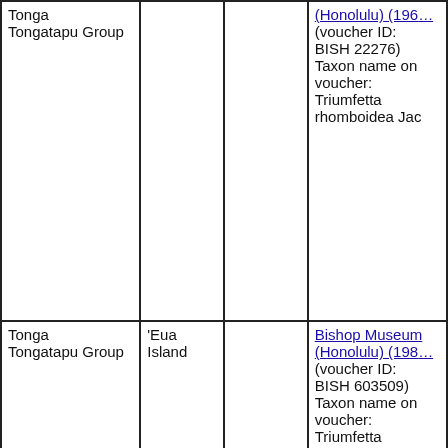| Tonga Tongatapu Group |  |  | Bishop Museum (Honolulu) (196...) (voucher ID: BISH 22276) Taxon name on voucher: Triumfetta rhomboidea Jac |
| Tonga Tongatapu Group | 'Eua Island |  | Bishop Museum (Honolulu) (198...) (voucher ID: BISH 603509) Taxon name on voucher: Triumfetta rhomboidea Jac |
| Tonga Tongatapu Group | 'Eua Island |  | National Tropical Botanical Garden (U.S.A. Hawaii. Kalaheo.) (2001...) (voucher ID: PTBG 231) Taxon name on voucher: Triumfetta |